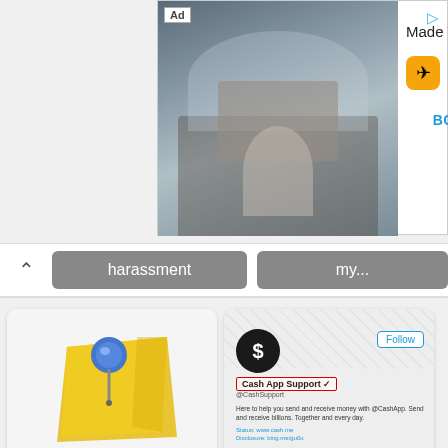[Figure (screenshot): Advertisement banner for Expedia.com - Made To Travel with BOOK NOW button]
[Figure (screenshot): Navigation bar with harassment and my... tab buttons and back arrow]
[Figure (illustration): Card: How Often Do Credit Card Companies Sue for Non-Payment? with pushpin on sticky note image]
[Figure (screenshot): Card: Why Is My Cashapp Payment Pending? with Cash App Support Twitter profile screenshot]
[Figure (photo): Card: If I Cancel My Debit Card with hand holding credit card image]
[Figure (illustration): Card: If I have a payment plan with pushpin on sticky note image]